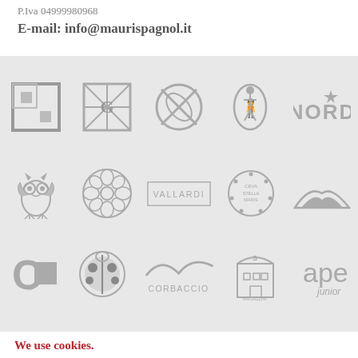P.Iva 04999980968
E-mail: info@maurispagnol.it
[Figure (logo): Grid of publisher logos in grey: Longanesi, Guanda, Salani, Pinocchio/Einaudi, Nord, Owl/Neri Pozza, Rose/Rosas, Vallardi, Ceva Stellamaris, mountains, C-square, ladybug, Corbaccio, Magazzini Salani, ape junior]
We use cookies.
This site uses cookies to improve your browsing experience. By using this site, you consent to the use of cookies described in our Cookie Policy. Also read our Privacy Policy.